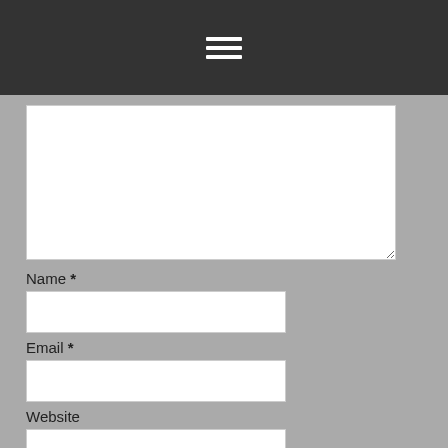[Figure (screenshot): Dark navigation bar with hamburger menu icon (three white horizontal lines)]
[Figure (screenshot): Comment form with textarea, Name field, Email field, Website field, checkbox with save-info label, and Post Comment button]
Name *
Email *
Website
Save my name, email, and website in this browser for the next time I comment.
Post Comment